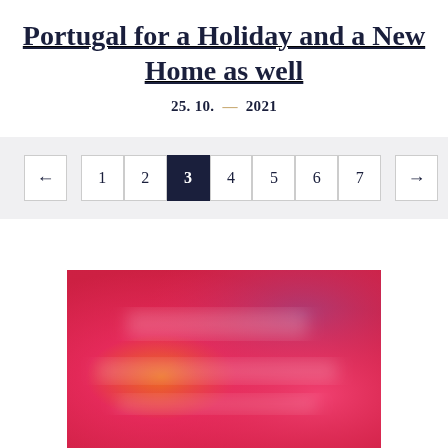Portugal for a Holiday and a New Home as well
25. 10. — 2021
[Figure (screenshot): Pagination navigation bar with left arrow, page numbers 1 through 7 (page 3 highlighted in dark navy), and right arrow]
[Figure (photo): Blurred colorful image with warm red, orange, pink and purple gradient tones, with indistinct blurred text overlay]